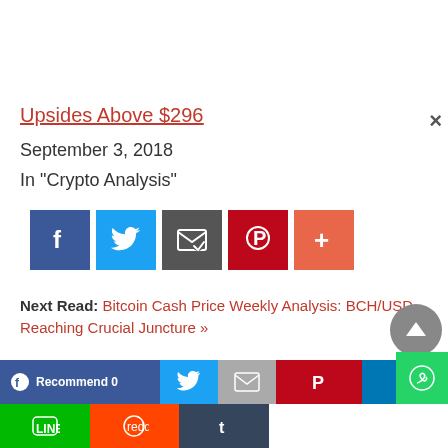Upsides Above $296
September 3, 2018
In "Crypto Analysis"
[Figure (infographic): Social share buttons: Facebook, Twitter, Email, Pinterest, More]
Next Read: Bitcoin Cash Price Weekly Analysis: BCH/USD Reaching Crucial Juncture »
[Figure (screenshot): Bottom social sharing bar with Facebook Recommend 0, Twitter, Email, Pinterest, LinkedIn, LINE, Reddit, Tumblr buttons. Also scroll-to-top and WhatsApp buttons visible.]